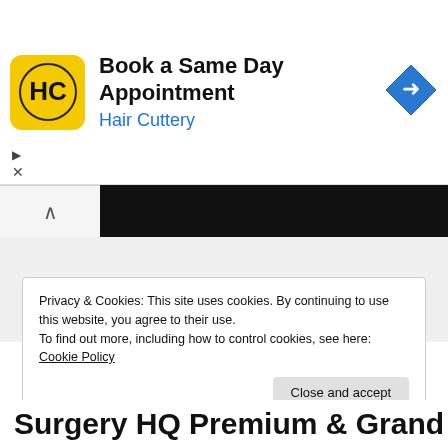[Figure (screenshot): Advertisement banner for Hair Cuttery with yellow HC logo, text 'Book a Same Day Appointment / Hair Cuttery', and a blue diamond navigation icon on the right. Ad controls (play and close X) on left side.]
[Figure (screenshot): Collapsed video bar with chevron/up-arrow on white background and black bar extending to the right.]
Privacy & Cookies: This site uses cookies. By continuing to use this website, you agree to their use.
To find out more, including how to control cookies, see here: Cookie Policy
Close and accept
Surgery HQ Premium & Grand...